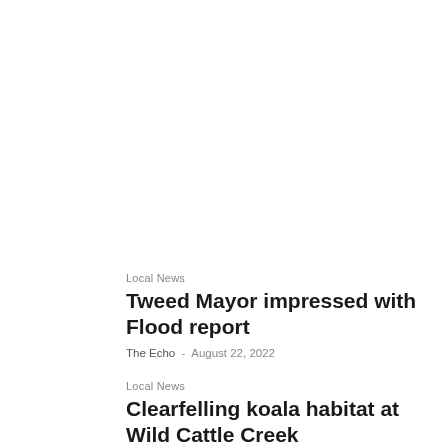Local News
Tweed Mayor impressed with Flood report
The Echo - August 22, 2022
Local News
Clearfelling koala habitat at Wild Cattle Creek